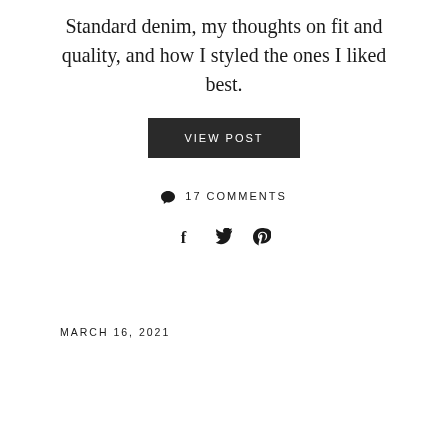Standard denim, my thoughts on fit and quality, and how I styled the ones I liked best.
VIEW POST
💬 17 COMMENTS
[Figure (other): Social share icons: Facebook (f), Twitter (bird), Pinterest (p)]
MARCH 16, 2021